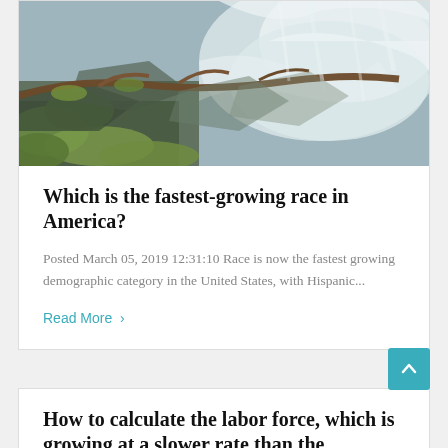[Figure (photo): Waterfall scene with mossy rocks and a tree branch in the foreground, rushing white water in the background.]
Which is the fastest-growing race in America?
Posted March 05, 2019 12:31:10 Race is now the fastest growing demographic category in the United States, with Hispanic...
Read More >
How to calculate the labor force, which is growing at a slower rate than the